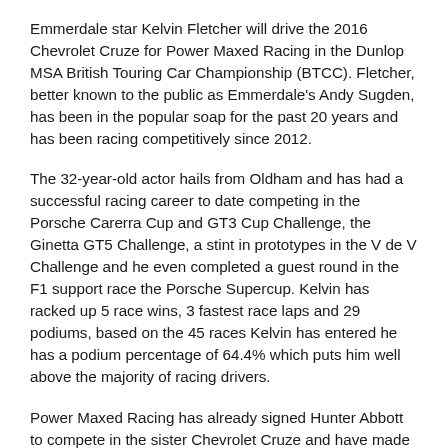Emmerdale star Kelvin Fletcher will drive the 2016 Chevrolet Cruze for Power Maxed Racing in the Dunlop MSA British Touring Car Championship (BTCC). Fletcher, better known to the public as Emmerdale's Andy Sugden, has been in the popular soap for the past 20 years and has been racing competitively since 2012.
The 32-year-old actor hails from Oldham and has had a successful racing career to date competing in the Porsche Carerra Cup and GT3 Cup Challenge, the Ginetta GT5 Challenge, a stint in prototypes in the V de V Challenge and he even completed a guest round in the F1 support race the Porsche Supercup. Kelvin has racked up 5 race wins, 3 fastest race laps and 29 podiums, based on the 45 races Kelvin has entered he has a podium percentage of 64.4% which puts him well above the majority of racing drivers.
Power Maxed Racing has already signed Hunter Abbott to compete in the sister Chevrolet Cruze and have made a number of changes to the car for this season including the